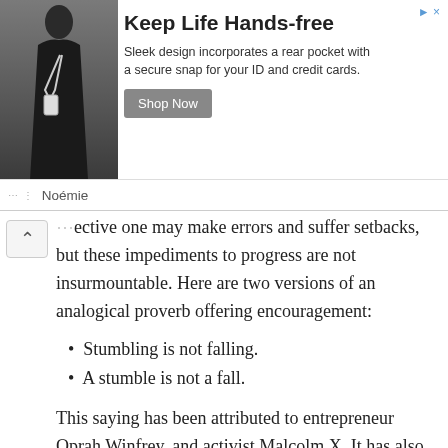[Figure (photo): Advertisement banner: photo of a person wearing a black outfit with a crossbody bag/phone holder. Text reads 'Keep Life Hands-free'. Description: 'Sleek design incorporates a rear pocket with a secure snap for your ID and credit cards.' Brand: Noémie. Button: 'Shop Now'.]
ective one may make errors and suffer setbacks, but these impediments to progress are not insurmountable. Here are two versions of an analogical proverb offering encouragement:
Stumbling is not falling.
A stumble is not a fall.
This saying has been attributed to entrepreneur Oprah Winfrey, and activist Malcolm X. It has also been called a Portuguese and Haitian Proverb. Would you please examine this topic?
Quote Investigator: Malcolm X received credit in the 2009... which is an update. Oprah, Winfrey did...